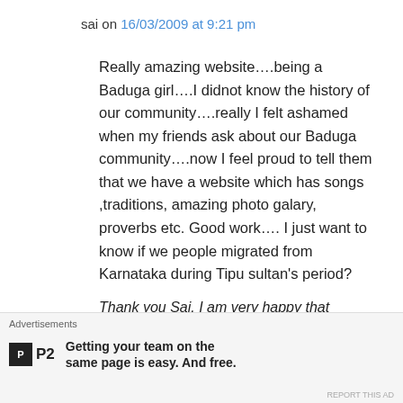sai on 16/03/2009 at 9:21 pm
Really amazing website….being a Baduga girl….I didnot know the history of our community….really I felt ashamed when my friends ask about our Baduga community….now I feel proud to tell them that we have a website which has songs ,traditions, amazing photo galary, proverbs etc. Good work…. I just want to know if we people migrated from Karnataka during Tipu sultan's period?
Thank you Sai. I am very happy that youngsters like you are learning about our community with
Advertisements
Getting your team on the same page is easy. And free.